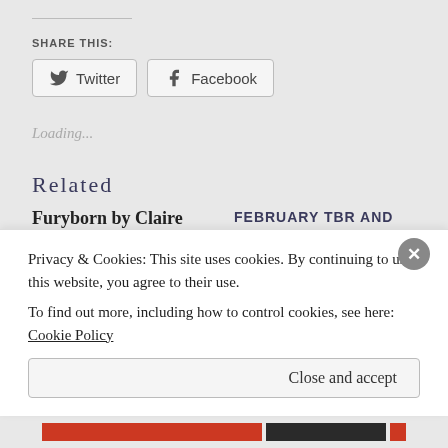SHARE THIS:
[Figure (screenshot): Twitter and Facebook share buttons]
Loading...
RELATED
Furyborn by Claire
FEBRUARY TBR AND
Privacy & Cookies: This site uses cookies. By continuing to use this website, you agree to their use.
To find out more, including how to control cookies, see here: Cookie Policy
Close and accept